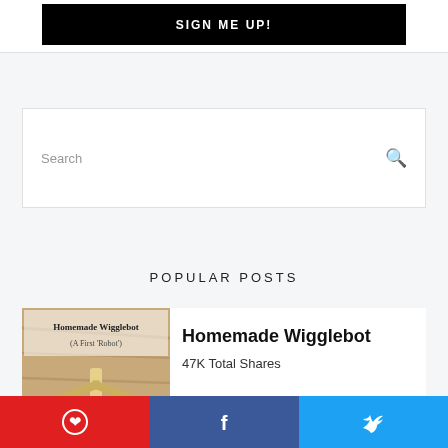[Figure (screenshot): Black button with text SIGN ME UP! in white bold uppercase letters]
[Figure (screenshot): Search input box with placeholder text Search and a magnifying glass icon on the right]
POPULAR POSTS
[Figure (photo): Thumbnail image of Homemade Wigglebot (A First Robot) craft project with popsicle sticks and a red jar]
Homemade Wigglebot
47K Total Shares
[Figure (screenshot): Three social share buttons: Pinterest (red), Facebook (dark blue), Twitter (light blue) with respective icons]